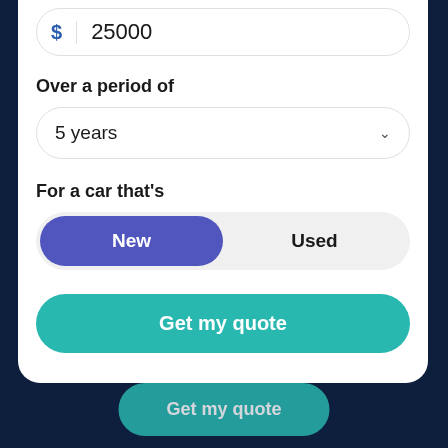$ 25000
Over a period of
5 years
For a car that's
New
Used
Get my quote
Get my quote